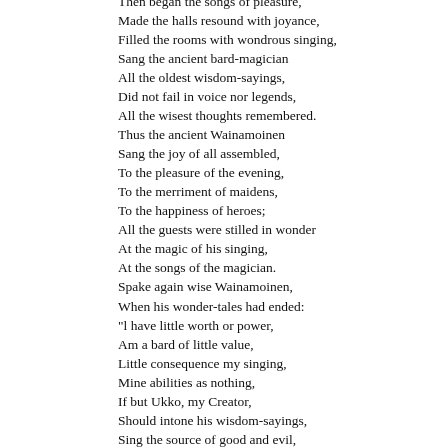Then began the songs of pleasure,
Made the halls resound with joyance,
Filled the rooms with wondrous singing,
Sang the ancient bard-magician
All the oldest wisdom-sayings,
Did not fail in voice nor legends,
All the wisest thoughts remembered.
Thus the ancient Wainamoinen
Sang the joy of all assembled,
To the pleasure of the evening,
To the merriment of maidens,
To the happiness of heroes;
All the guests were stilled in wonder
At the magic of his singing,
At the songs of the magician.
Spake again wise Wainamoinen,
When his wonder-tales had ended:
"I have little worth or power,
Am a bard of little value,
Little consequence my singing,
Mine abilities as nothing,
If but Ukko, my Creator,
Should intone his wisdom-sayings,
Sing the source of good and evil,
Sing the origin of matter,